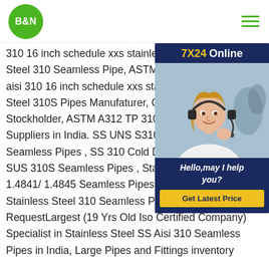[Figure (logo): B&N company logo - green circle with white B&N text]
310 16 inch schedule xxs stainless pip... Steel 310 Seamless Pipe, ASTM A312 aisi 310 16 inch schedule xxs stainless Steel 310S Pipes Manufaturer, Cold D... Stockholder, ASTM A312 TP 310 SS S... Suppliers in India. SS UNS S31000/ S... Seamless Pipes , SS 310 Cold Drawn ... SUS 310S Seamless Pipes , Stainless Steel DIN 1.4841/ 1.4845 Seamless Pipes Stockist In India. Stainless Steel 310 Seamless Pipes Tubes Steel RequestLargest (19 Yrs Old Iso Certified Company) Specialist in Stainless Steel SS Aisi 310 Seamless Pipes in India, Large Pipes and Fittings inventory
[Figure (infographic): 7X24 Online customer service ad with headset-wearing woman photo. Text: '7X24 Online', 'Hello,may I help you?', button: 'Get Latest Price']